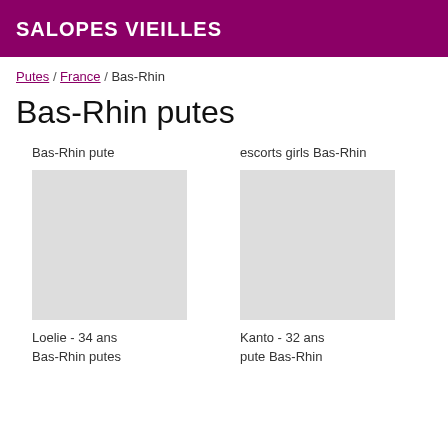SALOPES VIEILLES
Putes / France / Bas-Rhin
Bas-Rhin putes
Bas-Rhin pute
escorts girls Bas-Rhin
Loelie - 34 ans
Kanto - 32 ans
Bas-Rhin putes
pute Bas-Rhin